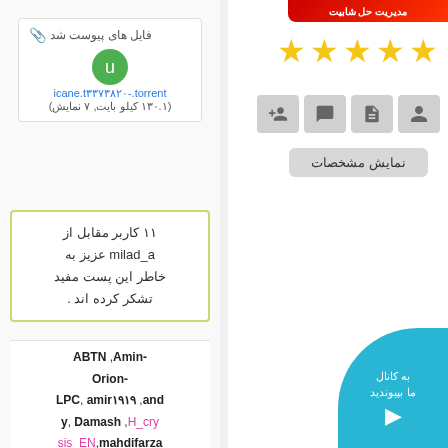فایل های پیوست شد
icane.t۳۳۷۳۸۲۰-.torrent
(۱۳۰.۱ کیلو بایت, ۷ نمایش)
[Figure (screenshot): Red banner button at top right]
[Figure (infographic): Five gold stars rating]
[Figure (infographic): Four icon buttons: person, document, chat, add-person]
نمایش مشخصات
۱۱ کاربر مقابل از milad_a عزیز به خاطر این پست مفید تشکر کرده اند .
ABTN ,Amin-Orion-LPC, amir۱۹۱۹ ,andy, Damash ,H_crysis_EN,mahdifarzaneh, Medusa ,mehdidark, moji ,Yahel